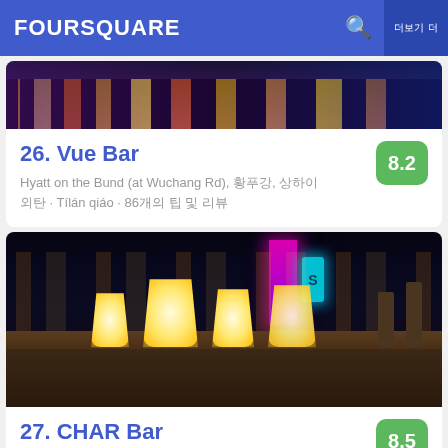FOURSQUARE
[Figure (photo): City skyline photo, daytime/colorful, for Vue Bar listing]
26. Vue Bar
8.2
Hyatt on the Bund (at Wuchang Rd), 황푸강, 상하이 외탄 · Tílán qiáo · 86개의 팁 및 리뷰
[Figure (photo): Rooftop bar at night with glowing lantern-style furniture and city skyline behind, for CHAR Bar listing]
27. CHAR Bar
8.5
85 Zhongshan Rd E-2 (30/F Hotel Indigo), Huangpu, 황푸구